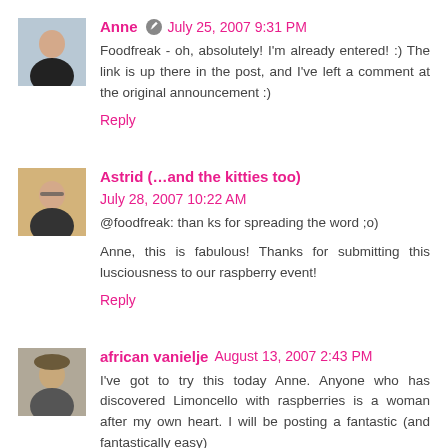[Figure (photo): Avatar photo of commenter Anne]
Anne July 25, 2007 9:31 PM
Foodfreak - oh, absolutely! I'm already entered! :) The link is up there in the post, and I've left a comment at the original announcement :)
Reply
[Figure (photo): Avatar photo of commenter Astrid]
Astrid (...and the kitties too) July 28, 2007 10:22 AM
@foodfreak: than ks for spreading the word ;o)
Anne, this is fabulous! Thanks for submitting this lusciousness to our raspberry event!
Reply
[Figure (photo): Avatar photo of commenter african vanielje]
african vanielje August 13, 2007 2:43 PM
I've got to try this today Anne. Anyone who has discovered Limoncello with raspberries is a woman after my own heart. I will be posting a fantastic (and fantastically easy)